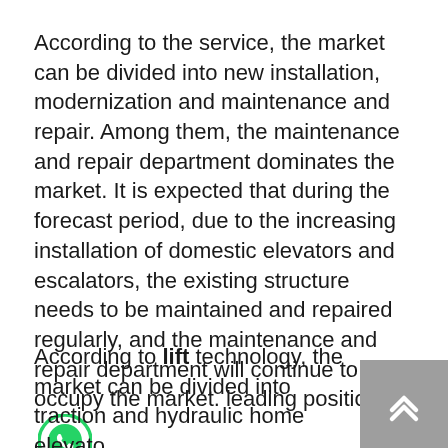According to the service, the market can be divided into new installation, modernization and maintenance and repair. Among them, the maintenance and repair department dominates the market. It is expected that during the forecast period, due to the increasing installation of domestic elevators and escalators, the existing structure needs to be maintained and repaired regularly, and the maintenance and repair department will continue to occupy the market. leading position.
According to lift technology, the market can be divided into traction and hydraulic home elevato...